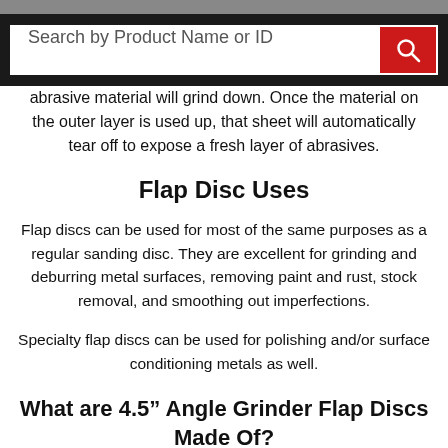Search by Product Name or ID
abrasive material will grind down. Once the material on the outer layer is used up, that sheet will automatically tear off to expose a fresh layer of abrasives.
Flap Disc Uses
Flap discs can be used for most of the same purposes as a regular sanding disc. They are excellent for grinding and deburring metal surfaces, removing paint and rust, stock removal, and smoothing out imperfections.
Specialty flap discs can be used for polishing and/or surface conditioning metals as well.
What are 4.5” Angle Grinder Flap Discs Made Of?